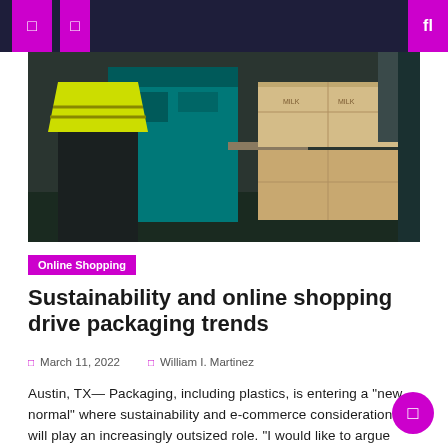Navigation header with menu icons
[Figure (photo): Worker in yellow high-visibility vest at a packaging/warehouse facility with teal machinery and cardboard boxes stacked on the right side]
Online Shopping
Sustainability and online shopping drive packaging trends
March 11, 2022  William I. Martinez
Austin, TX— Packaging, including plastics, is entering a “new normal” where sustainability and e-commerce considerations will play an increasingly outsized role. “I would like to argue that we are really entering a new trend and a new normal,” said David Feber, partner in the Detroit office of consulting firm McKinsey & Co., at the recent [...]